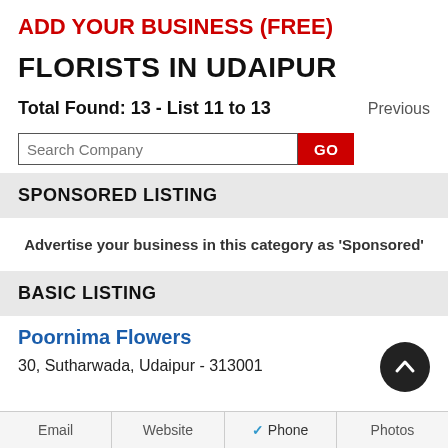ADD YOUR BUSINESS (FREE)
FLORISTS IN UDAIPUR
Total Found: 13 - List 11 to 13     Previous
Search Company  GO
SPONSORED LISTING
Advertise your business in this category as 'Sponsored'
BASIC LISTING
Poornima Flowers
30, Sutharwada, Udaipur - 313001
Email
Website
✓ Phone
Photos